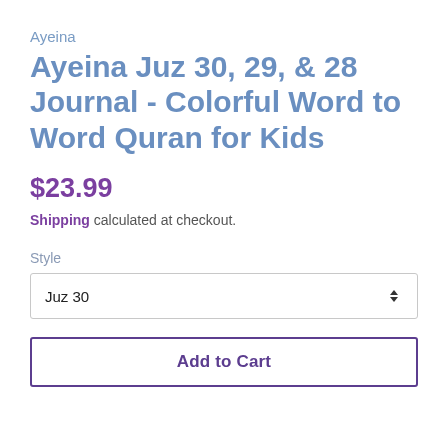Ayeina
Ayeina Juz 30, 29, & 28 Journal - Colorful Word to Word Quran for Kids
$23.99
Shipping calculated at checkout.
Style
Juz 30
Add to Cart